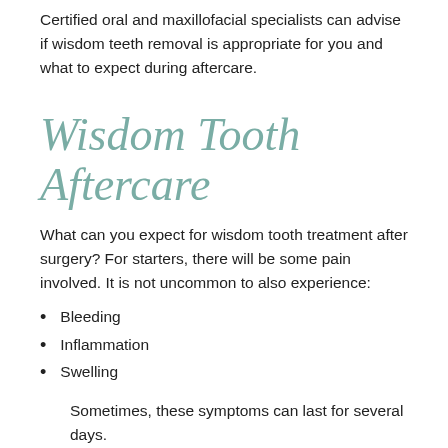Certified oral and maxillofacial specialists can advise if wisdom teeth removal is appropriate for you and what to expect during aftercare.
Wisdom Tooth Aftercare
What can you expect for wisdom tooth treatment after surgery? For starters, there will be some pain involved. It is not uncommon to also experience:
Bleeding
Inflammation
Swelling
Sometimes, these symptoms can last for several days.